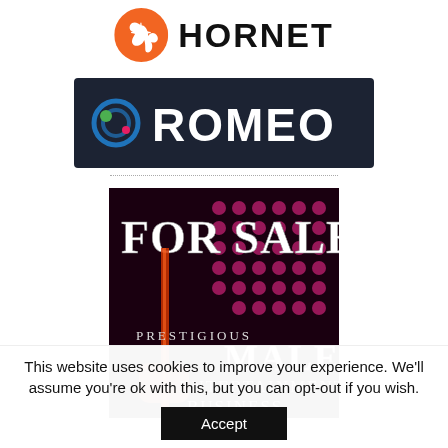[Figure (logo): Hornet app logo: orange circle with white bird icon, and bold black text 'HORNET']
[Figure (logo): Romeo app logo: dark navy background with colorful circular icon and large white text 'ROMEO']
[Figure (illustration): Dark background advertisement image with text 'FOR SALE' in large white letters at top, colorful pink dot pattern on right side, a person holding a pole on the left, and text 'PRESTIGIOUS MALE ENTERTAINMENT BUSINESS' in silver/white letters below]
This website uses cookies to improve your experience. We'll assume you're ok with this, but you can opt-out if you wish.
Accept